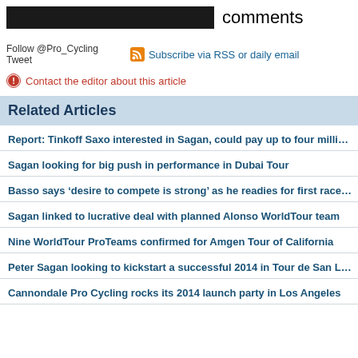comments
Follow @Pro_Cycling Tweet
Subscribe via RSS or daily email
Contact the editor about this article
Related Articles
Report: Tinkoff Saxo interested in Sagan, could pay up to four million euro p
Sagan looking for big push in performance in Dubai Tour
Basso says ‘desire to compete is strong’ as he readies for first race of the seaso
Sagan linked to lucrative deal with planned Alonso WorldTour team
Nine WorldTour ProTeams confirmed for Amgen Tour of California
Peter Sagan looking to kickstart a successful 2014 in Tour de San Luis
Cannondale Pro Cycling rocks its 2014 launch party in Los Angeles